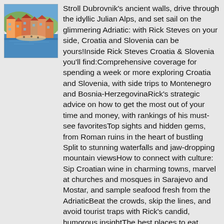[Figure (illustration): Book cover for Rick Steves Croatia & Slovenia showing a colorful Mediterranean coastal town scene with orange rooftops and blue water]
Stroll Dubrovnik's ancient walls, drive through the idyllic Julian Alps, and set sail on the glimmering Adriatic: with Rick Steves on your side, Croatia and Slovenia can be yours!Inside Rick Steves Croatia & Slovenia you'll find:Comprehensive coverage for spending a week or more exploring Croatia and Slovenia, with side trips to Montenegro and Bosnia-HerzegovinaRick's strategic advice on how to get the most out of your time and money, with rankings of his must-see favoritesTop sights and hidden gems, from Roman ruins in the heart of bustling Split to stunning waterfalls and jaw-dropping mountain viewsHow to connect with culture: Sip Croatian wine in charming towns, marvel at churches and mosques in Sarajevo and Mostar, and sample seafood fresh from the AdriaticBeat the crowds, skip the lines, and avoid tourist traps with Rick's candid, humorous insightThe best places to eat, sleep, and relax Self-guided walking tours of lively neighborhoodsDetailed maps for exploring on the goUseful resources